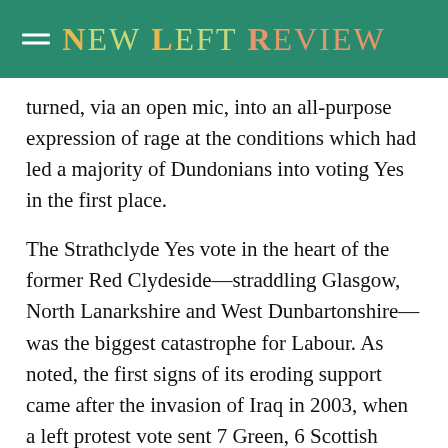New Left Review
turned, via an open mic, into an all-purpose expression of rage at the conditions which had led a majority of Dundonians into voting Yes in the first place.
The Strathclyde Yes vote in the heart of the former Red Clydeside—straddling Glasgow, North Lanarkshire and West Dunbartonshire—was the biggest catastrophe for Labour. As noted, the first signs of its eroding support came after the invasion of Iraq in 2003, when a left protest vote sent 7 Green, 6 Scottish Socialist Party and 4 radical independent MSPs, including Dennis Canavan and